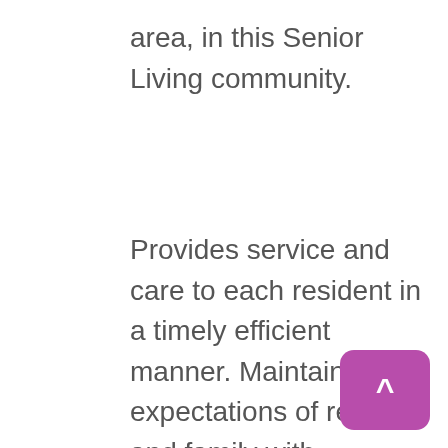area, in this Senior Living community.
Provides service and care to each resident in a timely efficient manner. Maintains expectations of resident and family with satisfactory results and implements high quality